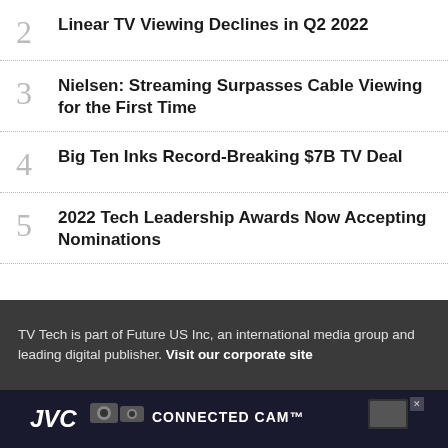2 Linear TV Viewing Declines in Q2 2022
3 Nielsen: Streaming Surpasses Cable Viewing for the First Time
4 Big Ten Inks Record-Breaking $7B TV Deal
5 2022 Tech Leadership Awards Now Accepting Nominations
TV Tech is part of Future US Inc, an international media group and leading digital publisher. Visit our corporate site
[Figure (screenshot): JVC Connected Cam advertisement banner]